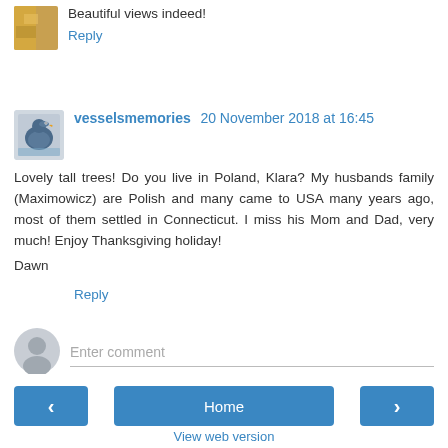Beautiful views indeed!
Reply
vesselsmemories 20 November 2018 at 16:45
Lovely tall trees! Do you live in Poland, Klara? My husbands family (Maximowicz) are Polish and many came to USA many years ago, most of them settled in Connecticut. I miss his Mom and Dad, very much! Enjoy Thanksgiving holiday!
Dawn
Reply
Enter comment
Home
View web version